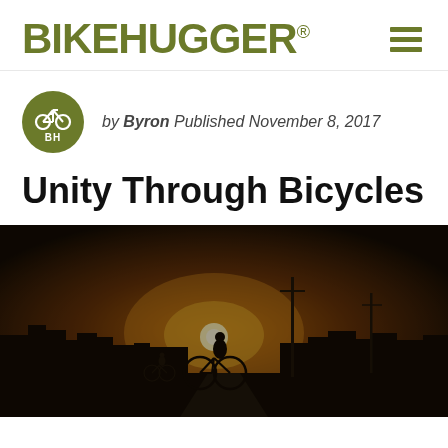BIKEHUGGER®
by Byron Published November 8, 2017
Unity Through Bicycles
[Figure (photo): Silhouette of a cyclist riding on a road at sunset, with buildings and utility poles visible against a warm glowing sky in the background. The scene is very dark with a bright sun low on the horizon.]